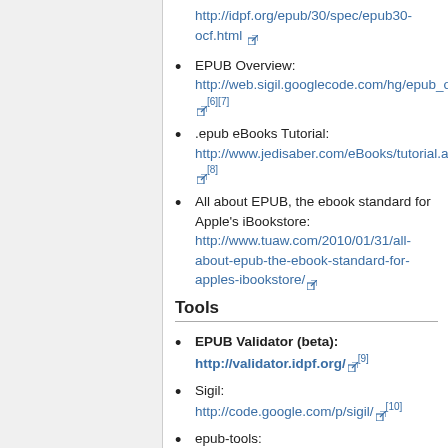http://idpf.org/epub/30/spec/epub30-ocf.html [external link]
EPUB Overview: http://web.sigil.googlecode.com/hg/epub_overview.html [6][7]
.epub eBooks Tutorial: http://www.jedisaber.com/eBooks/tutorial.asp [8]
All about EPUB, the ebook standard for Apple's iBookstore: http://www.tuaw.com/2010/01/31/all-about-epub-the-ebook-standard-for-apples-ibookstore/ [external link]
Tools
EPUB Validator (beta): http://validator.idpf.org/ [9]
Sigil: http://code.google.com/p/sigil/ [10]
epub-tools: http://code.google.com/p/epub-